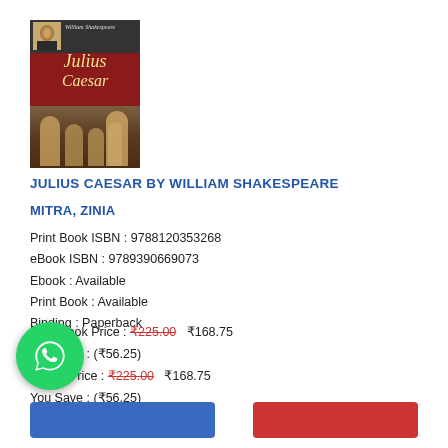[Figure (illustration): Book cover of Julius Caesar by William Shakespeare, red cover with portrait of Shakespeare and classical scene at bottom]
JULIUS CAESAR BY WILLIAM SHAKESPEARE
MITRA, ZINIA
Print Book ISBN : 9788120353268
eBook ISBN : 9789390669073
Ebook : Available
Print Book : Available
Binding : Paperback
Print Book Price : ₹225.00  ₹168.75
You Save : (₹56.25)
Ebook Price : ₹225.00  ₹168.75
You Save : (₹56.25)